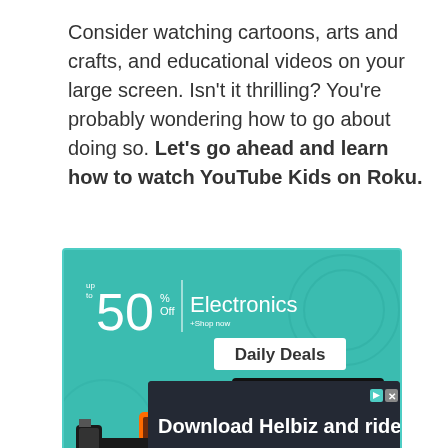Consider watching cartoons, arts and crafts, and educational videos on your large screen. Isn't it thrilling? You're probably wondering how to go about doing so. Let's go ahead and learn how to watch YouTube Kids on Roku.
[Figure (infographic): Electronics daily deals advertisement banner on teal background showing 'up to 50% Off Electronics - Shop now - Daily Deals' with images of TV, laptop, phone, camera and smartwatch]
[Figure (infographic): Bottom advertisement banner with dark background showing 'Download Helbiz and ride' text with play and close icons]